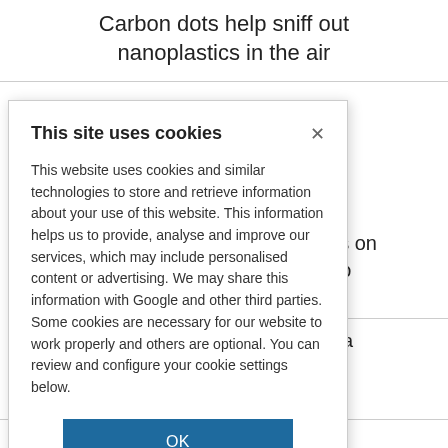Carbon dots help sniff out nanoplastics in the air
reveals rocks on y exposed to
es for malaria MEDICINES FOR
This site uses cookies
This website uses cookies and similar technologies to store and retrieve information about your use of this website. This information helps us to provide, analyse and improve our services, which may include personalised content or advertising. We may share this information with Google and other third parties. Some cookies are necessary for our website to work properly and others are optional. You can review and configure your cookie settings below.
OK
COOKIE SETTINGS